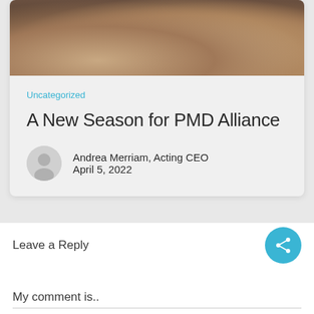[Figure (photo): Hands together in a circle, team unity photo, partially cropped at top]
Uncategorized
A New Season for PMD Alliance
Andrea Merriam, Acting CEO
April 5, 2022
Leave a Reply
My comment is..